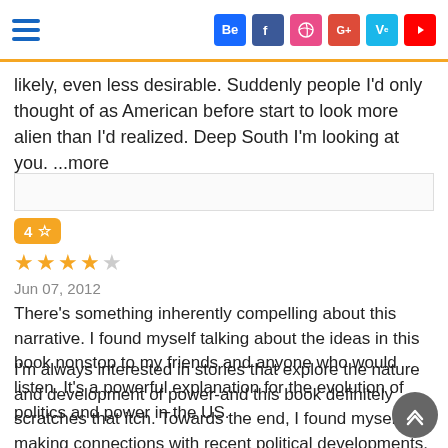Header with hamburger menu and social icons: Behance, Facebook, Dribbble, Google+, Vine, YouTube
likely, even less desirable. Suddenly people I'd only thought of as American before start to look more alien than I'd realized. Deep South I'm looking at you. ...more
4 ★☆ (rating badge) ★★★☆ Jun 07, 2012
There's something inherently compelling about this narrative. I found myself talking about the ideas in this book nonstop to my friends and anyone who would listen. It's a powerful explanation for the evolution of politics and power in the US.
I'm always interested in stories that explore the nature and development of power-and this book definitely scratches that itch. Towards the end, I found myself making connections with recent political developments. Of course Republicans emphasi a strong There's something inherently compelling about this narrative. I found myself talking about the ideas in this book